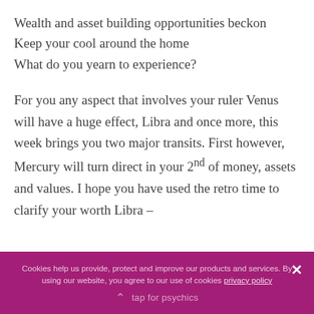Wealth and asset building opportunities beckon
Keep your cool around the home
What do you yearn to experience?
For you any aspect that involves your ruler Venus will have a huge effect, Libra and once more, this week brings you two major transits. First however, Mercury will turn direct in your 2nd of money, assets and values. I hope you have used the retro time to clarify your worth Libra –
Cookies help us provide, protect and improve our products and services. By using our website, you agree to our use of cookies privacy policy
tap for psychics